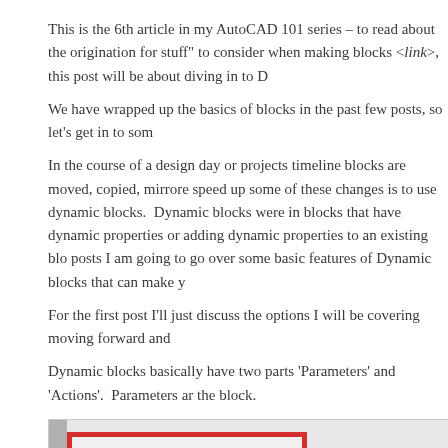This is the 6th article in my AutoCAD 101 series – to read about the origination for stuff" to consider when making blocks <link>, this post will be about diving in to D
We have wrapped up the basics of blocks in the past few posts, so let's get in to som
In the course of a design day or projects timeline blocks are moved, copied, mirrore speed up some of these changes is to use dynamic blocks.  Dynamic blocks were in blocks that have dynamic properties or adding dynamic properties to an existing blo posts I am going to go over some basic features of Dynamic blocks that can make y
For the first post I'll just discuss the options I will be covering moving forward and
Dynamic blocks basically have two parts 'Parameters' and 'Actions'.  Parameters ar the block.
[Figure (screenshot): AutoCAD Block Authoring Palettes panel showing Parameters tab with Point and Linear items listed, highlighted with a red border, and 'Parameters' label on the right side.]